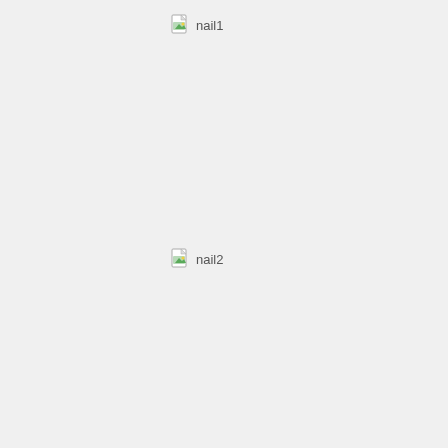[Figure (other): Broken image placeholder labeled 'nail1' at top-left area]
[Figure (other): Broken image placeholder labeled 'nail2' at middle-left area]